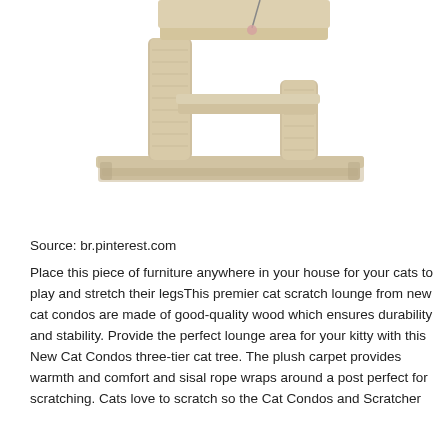[Figure (photo): A beige/tan carpet-covered cat tree with multiple platforms and cylindrical scratching posts, photographed on a white background. The lower portion shows the base platform and posts.]
Source: br.pinterest.com
Place this piece of furniture anywhere in your house for your cats to play and stretch their legsThis premier cat scratch lounge from new cat condos are made of good-quality wood which ensures durability and stability. Provide the perfect lounge area for your kitty with this New Cat Condos three-tier cat tree. The plush carpet provides warmth and comfort and sisal rope wraps around a post perfect for scratching. Cats love to scratch so the Cat Condos and Scratcher